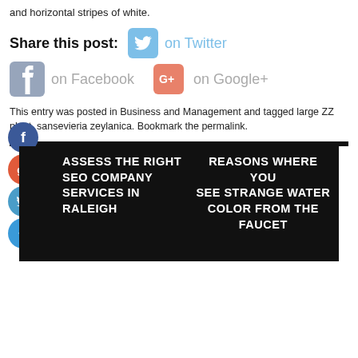and horizontal stripes of white.
Share this post:  on Twitter  on Facebook  on Google+
This entry was posted in Business and Management and tagged large ZZ plant, sansevieria zeylanica. Bookmark the permalink.
ASSESS THE RIGHT SEO COMPANY SERVICES IN RALEIGH
REASONS WHERE YOU SEE STRANGE WATER COLOR FROM THE FAUCET